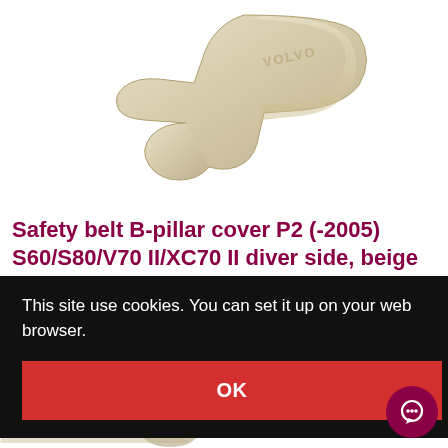[Figure (photo): A beige/cream colored Volvo safety belt B-pillar cover plastic trim piece, curved hook shape, with 'VOLVO' text embossed, photographed on white background.]
Safety belt B-pillar cover P2 (-2005) S60/S80/V70 II/XC70 II diver side, beige
MANUFACTURER: VOLVO
Volvo S60 (-2009), S80 (-2006), V70 (2000-2008), XC70 (2001-2007)
Stock in 2-7 days after
This site use cookies. You can set it up on your web browser.
OK